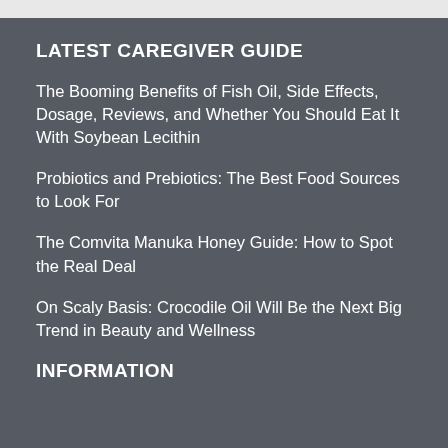LATEST CAREGIVER GUIDE
The Booming Benefits of Fish Oil, Side Effects, Dosage, Reviews, and Whether You Should Eat It With Soybean Lecithin
Probiotics and Prebiotics: The Best Food Sources to Look For
The Comvita Manuka Honey Guide: How to Spot the Real Deal
On Scaly Basis: Crocodile Oil Will Be the Next Big Trend in Beauty and Wellness
INFORMATION